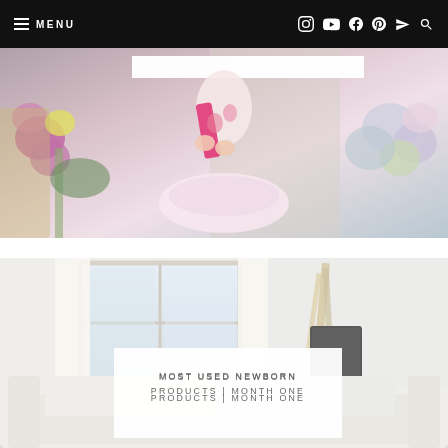≡ MENU | Instagram YouTube Facebook Pinterest Telegram Search
[Figure (photo): Child in a pink and white tutu dress holding pink fabric, surrounded by colorful flowers in the background. A white title banner is partially visible at the top of the image.]
[Figure (photo): Bright nursery or bedroom interior with a window, white curtains, a dark gray rectangular object (lamp or speaker), and a white couch/chair with cushions in the foreground. A white text box overlay reads 'MOST USED NEWBORN PRODUCTS | MONTH ONE'.]
MOST USED NEWBORN PRODUCTS | MONTH ONE